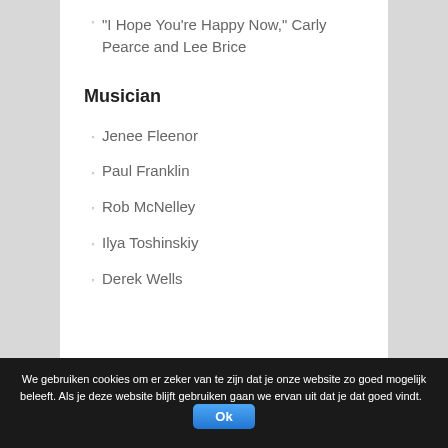"I Hope You're Happy Now," Carly Pearce and Lee Brice
Musician
Jenee Fleenor
Paul Franklin
Rob McNelley
Ilya Toshinskiy
Derek Wells
We gebruiken cookies om er zeker van te zijn dat je onze website zo goed mogelijk beleeft. Als je deze website blijft gebruiken gaan we ervan uit dat je dat goed vindt. Ok